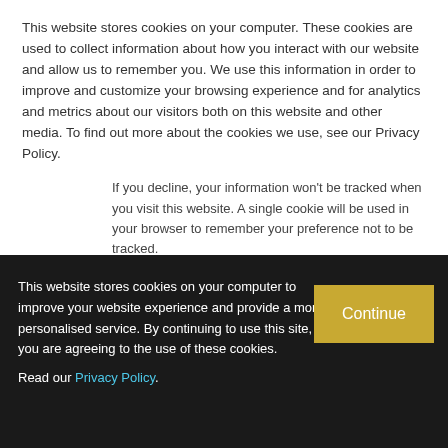This website stores cookies on your computer. These cookies are used to collect information about how you interact with our website and allow us to remember you. We use this information in order to improve and customize your browsing experience and for analytics and metrics about our visitors both on this website and other media. To find out more about the cookies we use, see our Privacy Policy.
If you decline, your information won't be tracked when you visit this website. A single cookie will be used in your browser to remember your preference not to be tracked.
Accept
Decline
Netflix “would think about” F1’s US
says CEO
with ESPN expires
This website stores cookies on your computer to improve your website experience and provide a more personalised service. By continuing to use this site, you are agreeing to the use of these cookies.
Read our Privacy Policy.
Continue